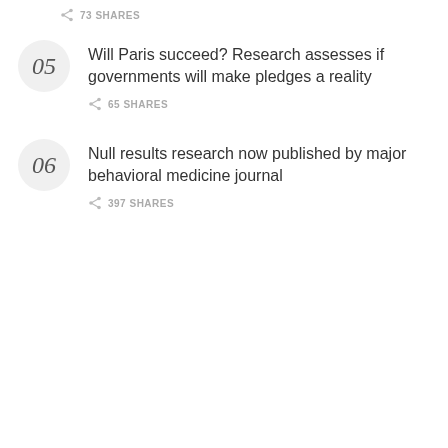73 SHARES
Will Paris succeed? Research assesses if governments will make pledges a reality
65 SHARES
Null results research now published by major behavioral medicine journal
397 SHARES